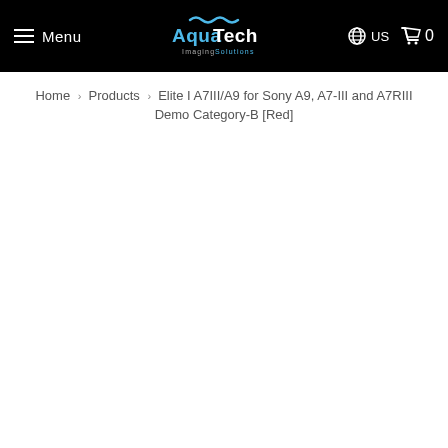Menu | AquaTech Imaging Solutions | US | Cart 0
Home > Products > Elite I A7III/A9 for Sony A9, A7-III and A7RIII Demo Category-B [Red]